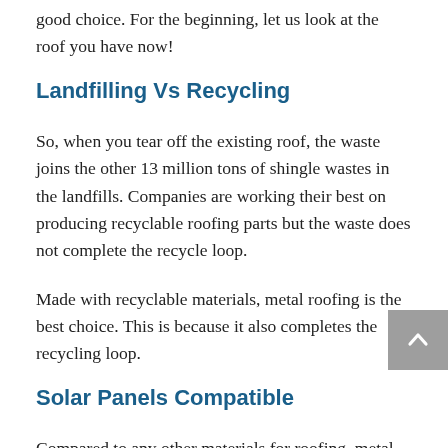good choice. For the beginning, let us look at the roof you have now!
Landfilling Vs Recycling
So, when you tear off the existing roof, the waste joins the other 13 million tons of shingle wastes in the landfills. Companies are working their best on producing recyclable roofing parts but the waste does not complete the recycle loop.
Made with recyclable materials, metal roofing is the best choice. This is because it also completes the recycling loop.
Solar Panels Compatible
Compared to any other materials for roofing, metal roofing